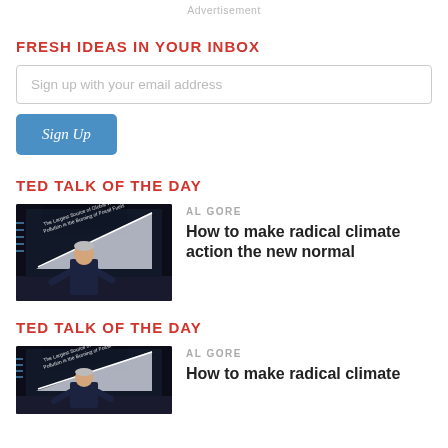Advertisement
FRESH IDEAS IN YOUR INBOX
Sign up with your email address
Sign Up
TED TALK OF THE DAY
[Figure (photo): Al Gore on stage at TED Talk, standing in front of a large screen displaying a rising chart with text about global warming and fossil fuels]
AL GORE
How to make radical climate action the new normal
TED TALK OF THE DAY
[Figure (photo): Al Gore on stage at TED Talk, same image repeated, standing in front of a large screen]
AL GORE
How to make radical climate